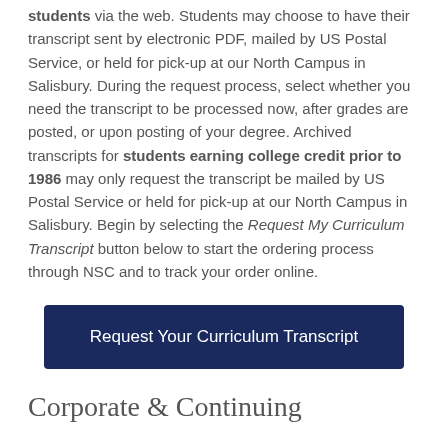students via the web. Students may choose to have their transcript sent by electronic PDF, mailed by US Postal Service, or held for pick-up at our North Campus in Salisbury. During the request process, select whether you need the transcript to be processed now, after grades are posted, or upon posting of your degree. Archived transcripts for students earning college credit prior to 1986 may only request the transcript be mailed by US Postal Service or held for pick-up at our North Campus in Salisbury. Begin by selecting the Request My Curriculum Transcript button below to start the ordering process through NSC and to track your order online.
Request Your Curriculum Transcript
Corporate & Continuing